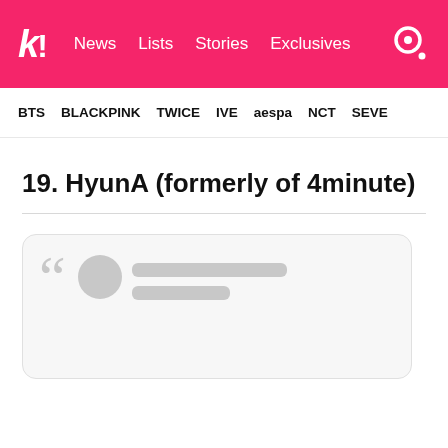k! News Lists Stories Exclusives
BTS BLACKPINK TWICE IVE aespa NCT SEVE
19. HyunA (formerly of 4minute)
[Figure (screenshot): Embedded social media card with a large gray quotation mark, a circular avatar placeholder, and two gray placeholder text lines]